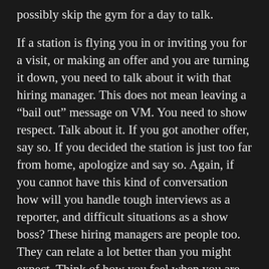possibly skip the gym for a day to talk.

If a station is flying you in or inviting you for a visit, or making an offer and you are turning it down, you need to talk about it with that hiring manager. This does not mean leaving a “bail out” message on VM. You need to show respect. Talk about it. If you got another offer, say so. If you decided the station is just too far from home, apologize and say so. Again, if you cannot have this kind of conversation how will you handle tough interviews as a reporter, and difficult situations as a show boss? These hiring managers are people too. They can relate a lot better than you might expect. Think of how you feel when you are just bold face